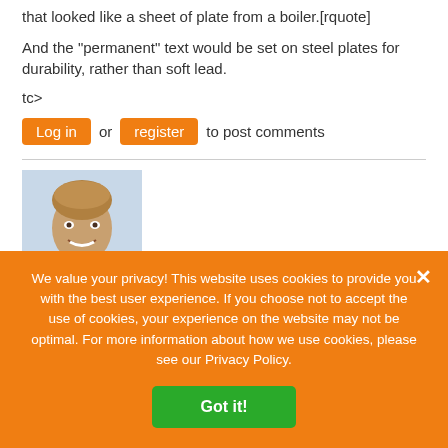that looked like a sheet of plate from a boiler.[rquote]
And the "permanent" text would be set on steel plates for durability, rather than soft lead.
tc>
Log in or register to post comments
[Figure (photo): Portrait photo of a middle-aged man with light brown hair, smiling, wearing a dark jacket, with a blurred outdoor background.]
We value your privacy! This website uses cookies to provide you with the best user experience. If you choose not to accept the use of cookies, your experience on the website may not be optimal. For more information about how we use cookies, please see our Privacy Policy.
Got it!